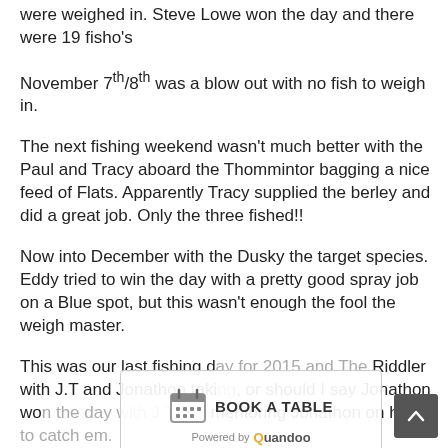were weighed in. Steve Lowe won the day and there were 19 fisho's
November 7th/8th was a blow out with no fish to weigh in.
The next fishing weekend wasn't much better with the Paul and Tracy aboard the Thommintor bagging a nice feed of Flats. Apparently Tracy supplied the berley and did a great job. Only the three fished!!
Now into December with the Dusky the target species. Eddy tried to win the day with a pretty good spray job on a Blue spot, but this wasn't enough the fool the weigh master.
This was our last fishing day for 2015 and The Riddler with J.T and Jonathon taking, or should I say Jonathon won the day with J.T just mentoring Jonathon on how to catch em.